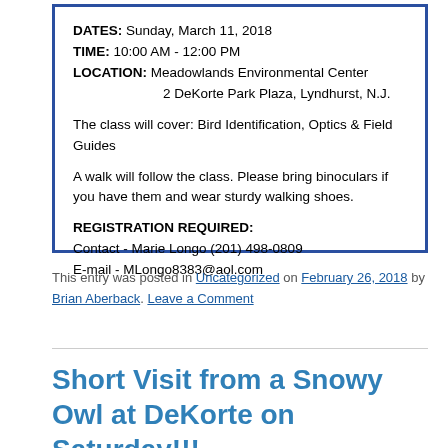DATES: Sunday, March 11, 2018
TIME: 10:00 AM - 12:00 PM
LOCATION: Meadowlands Environmental Center
2 DeKorte Park Plaza, Lyndhurst, N.J.

The class will cover: Bird Identification, Optics & Field Guides

A walk will follow the class. Please bring binoculars if you have them and wear sturdy walking shoes.

REGISTRATION REQUIRED:
Contact - Marie Longo (201) 498-0809
E-mail - MLongo8383@aol.com
This entry was posted in Uncategorized on February 26, 2018 by Brian Aberback. Leave a Comment
Short Visit from a Snowy Owl at DeKorte on Saturday!!!